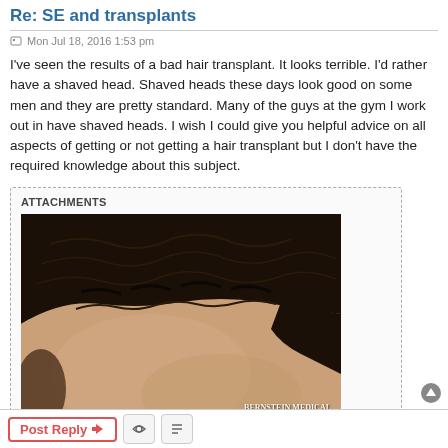Re: SE and transplants
Mon Jul 18, 2016 1:53 pm
I've seen the results of a bad hair transplant. It looks terrible. I'd rather have a shaved head. Shaved heads these days look good on some men and they are pretty standard. Many of the guys at the gym I work out in have shaved heads. I wish I could give you helpful advice on all aspects of getting or not getting a hair transplant but I don't have the required knowledge about this subject.
ATTACHMENTS
[Figure (photo): Close-up photo of a man's head showing a hair transplant result with dark curly hair, with a 'BERNSTEIN MEDICAL CENTER FOR HAIR RESTORATION' watermark in the bottom right corner.]
This one looks great
Hair transplant.jpg (7.16 KiB) Viewed 33892 times